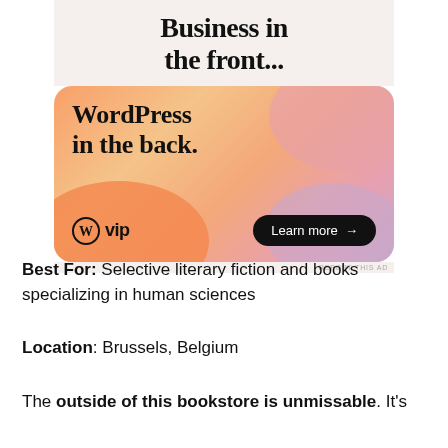[Figure (illustration): WordPress VIP advertisement banner with colorful gradient blobs. Top section on light background reads 'Business in the front...' in bold serif text. Below is a rounded banner with orange/pink/purple gradient blobs containing 'WordPress in the back.' in bold serif text, a WordPress VIP logo bottom-left, and a 'Learn more →' dark pill button bottom-right. Small 'REPORT THIS AD' text below banner.]
Best For: Selective literary fiction and books specializing in human sciences
Location: Brussels, Belgium
The outside of this bookstore is unmissable. It's